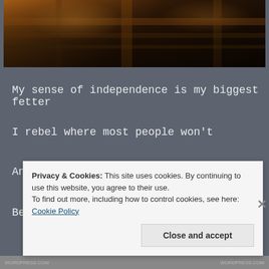[Figure (photo): Dark moody photograph showing wooden beams or structural elements with warm amber/golden light filtering through, creating a dramatic silhouette effect]
My sense of independence is my biggest fetter
I rebel where most people won't
And cooperate where most people don't
Because I want something different
Privacy & Cookies: This site uses cookies. By continuing to use this website, you agree to their use.
To find out more, including how to control cookies, see here: Cookie Policy
Close and accept